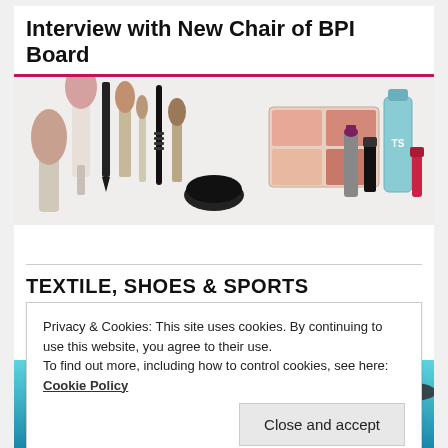Interview with New Chair of BPI Board
[Figure (photo): Flat lay of various cosmetics and makeup products including brushes, pencils, palette, lipstick, mascara, and skincare bottles on white background]
TEXTILE, SHOES & SPORTS
Privacy & Cookies: This site uses cookies. By continuing to use this website, you agree to their use.
To find out more, including how to control cookies, see here: Cookie Policy
Close and accept
[Figure (photo): Underwater photo of people's legs wearing colorful flip flop sandals in a swimming pool]